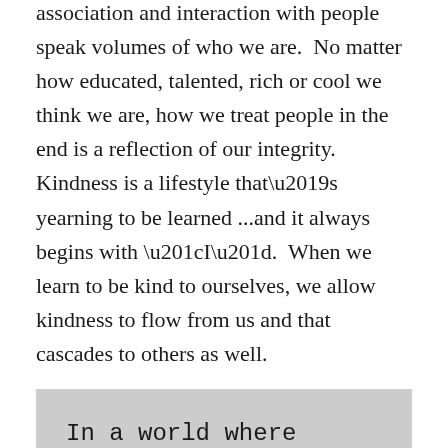association and interaction with people speak volumes of who we are.  No matter how educated, talented, rich or cool we think we are, how we treat people in the end is a reflection of our integrity.  Kindness is a lifestyle that's yearning to be learned ...and it always begins with “I”.  When we learn to be kind to ourselves, we allow kindness to flow from us and that cascades to others as well.
In a world where